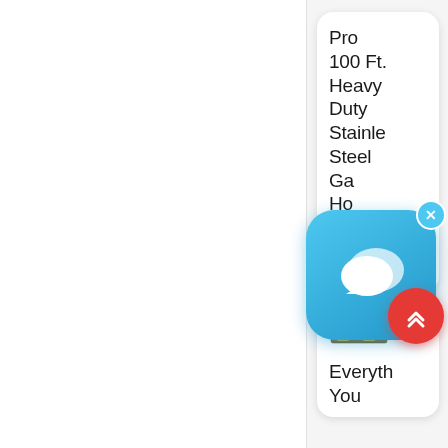[Figure (screenshot): Partial screenshot of a product listing card showing text: Pro 100 Ft. Heavy Duty Stainle Steel Ga Ho With, date 13/9/20, with a chat application overlay icon (blue rounded square with speech bubbles and X close button), a red scroll-to-top button with double chevrons, and a second card with a books/cassette icon and text: Everyth You]